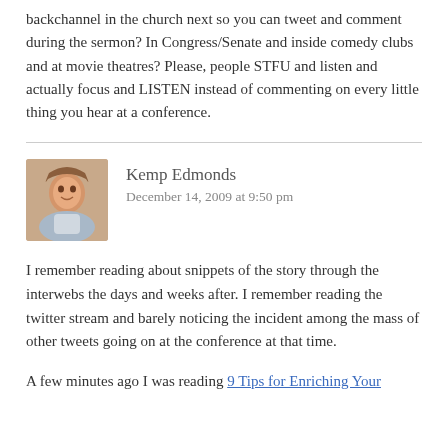backchannel in the church next so you can tweet and comment during the sermon? In Congress/Senate and inside comedy clubs and at movie theatres? Please, people STFU and listen and actually focus and LISTEN instead of commenting on every little thing you hear at a conference.
Kemp Edmonds
December 14, 2009 at 9:50 pm
I remember reading about snippets of the story through the interwebs the days and weeks after. I remember reading the twitter stream and barely noticing the incident among the mass of other tweets going on at the conference at that time.
A few minutes ago I was reading 9 Tips for Enriching Your